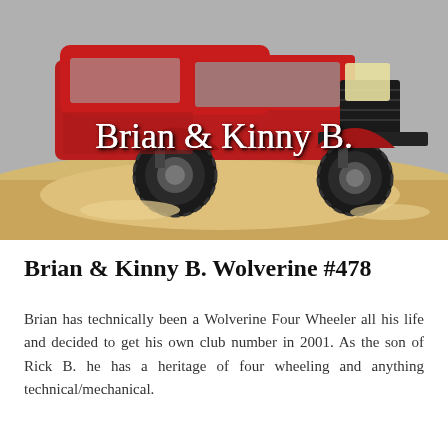[Figure (photo): A rugged red lifted off-road 4x4 vehicle (Jeep Cherokee style) in sand dunes, photographed from a low front-angle. The vehicle has large knobby tires and a custom front bumper. White text overlay reads 'Brian & Kinny B.' in serif font.]
Brian & Kinny B. Wolverine #478
Brian has technically been a Wolverine Four Wheeler all his life and decided to get his own club number in 2001. As the son of Rick B. he has a heritage of four wheeling and anything technical/mechanical.